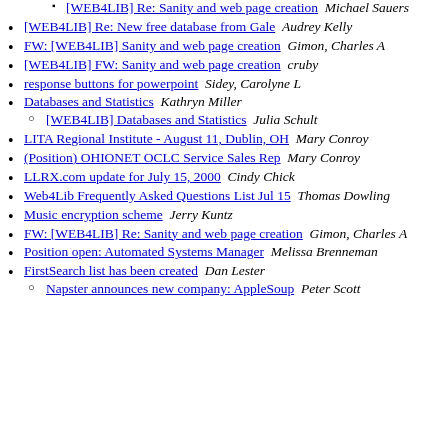[WEB4LIB] Re: Sanity and web page creation  Michael Sauers
[WEB4LIB] Re: New free database from Gale  Audrey Kelly
FW: [WEB4LIB] Sanity and web page creation  Gimon, Charles A
[WEB4LIB] FW: Sanity and web page creation  cruby
response buttons for powerpoint  Sidey, Carolyne L
Databases and Statistics  Kathryn Miller
[WEB4LIB] Databases and Statistics  Julia Schult
LITA Regional Institute - August 11, Dublin, OH  Mary Conroy
(Position) OHIONET OCLC Service Sales Rep  Mary Conroy
LLRX.com update for July 15, 2000  Cindy Chick
Web4Lib Frequently Asked Questions List Jul 15  Thomas Dowling
Music encryption scheme  Jerry Kuntz
FW: [WEB4LIB] Re: Sanity and web page creation  Gimon, Charles A
Position open: Automated Systems Manager  Melissa Brenneman
FirstSearch list has been created  Dan Lester
Napster announces new company: AppleSoup  Peter Scott